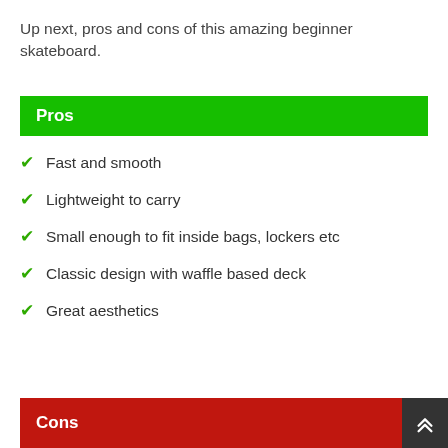Up next, pros and cons of this amazing beginner skateboard.
Pros
Fast and smooth
Lightweight to carry
Small enough to fit inside bags, lockers etc
Classic design with waffle based deck
Great aesthetics
Cons